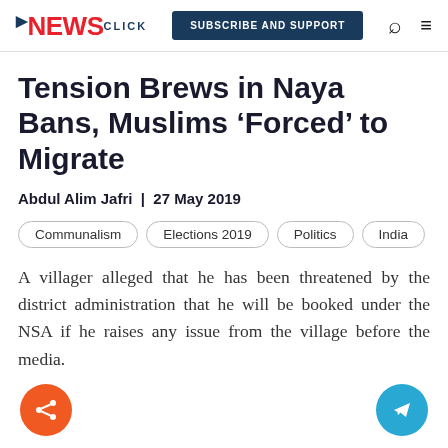NEWSclick | SUBSCRIBE AND SUPPORT
Tension Brews in Naya Bans, Muslims ‘Forced’ to Migrate
Abdul Alim Jafri | 27 May 2019
Communalism
Elections 2019
Politics
India
A villager alleged that he has been threatened by the district administration that he will be booked under the NSA if he raises any issue from the village before the media.